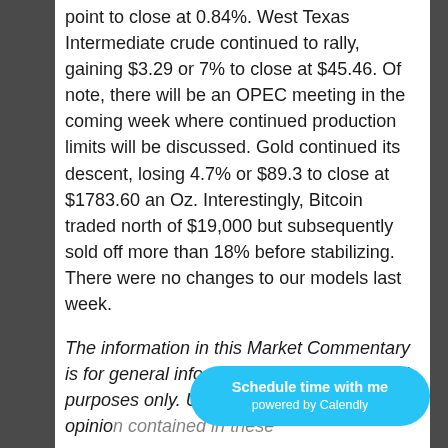point to close at 0.84%.  West Texas Intermediate crude continued to rally, gaining $3.29 or 7% to close at $45.46.  Of note, there will be an OPEC meeting in the coming week where continued production limits will be discussed.  Gold continued its descent, losing 4.7% or $89.3 to close at $1783.60 an Oz.  Interestingly, Bitcoin traded north of $19,000 but subsequently sold off more than 18% before stabilizing.  There were no changes to our models last week.
The information in this Market Commentary is for general informational and educational purposes only. Unless information and opinion contained in these